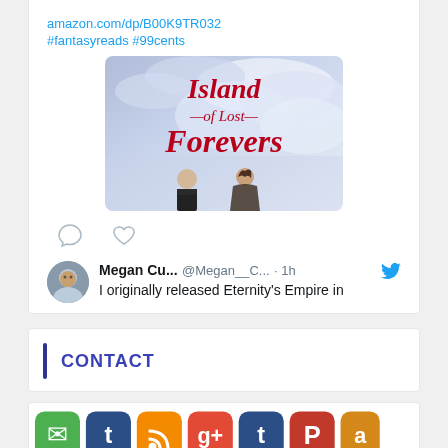amazon.com/dp/B00K9TR032
#fantasyreads #99cents
[Figure (illustration): Book cover for 'Island of Lost Forevers' showing two figures (a boy and a girl) viewed from behind, standing before a dramatic cloudy sky. Title text in red reads 'Island —of Lost— Forevers'.]
[Figure (other): Tweet action icons: comment bubble and heart (like) icons]
Megan Cu... @Megan__C... · 1h
I originally released Eternity's Empire in
CONTACT
[Figure (other): Row of social media icon buttons: email (green), Tumblr (blue), RSS (orange), Google+ (red/orange), Tumblr (blue), Pinterest (red), and another icon partially visible]